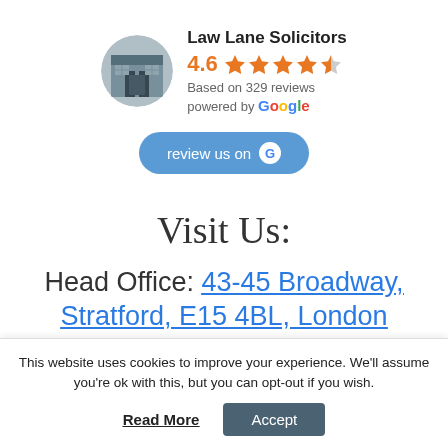[Figure (infographic): Law Lane Solicitors Google review widget showing business profile photo (circular), business name, 4.6 star rating with orange stars, 'Based on 329 reviews', 'powered by Google', and a 'review us on G' button]
Visit Us:
Head Office: 43-45 Broadway, Stratford, E15 4BL, London
This website uses cookies to improve your experience. We'll assume you're ok with this, but you can opt-out if you wish.
Read More | Accept